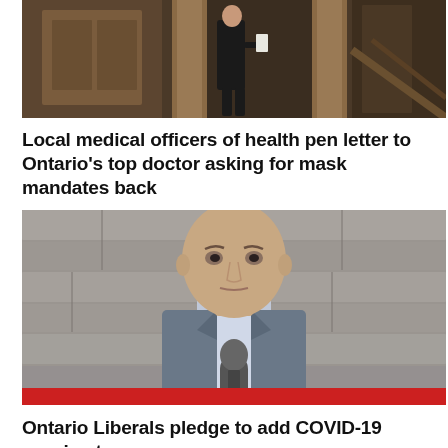[Figure (photo): Person in dark suit walking near wooden doors in what appears to be a legislative or government building interior]
Local medical officers of health pen letter to Ontario's top doctor asking for mask mandates back
[Figure (photo): Bald man in grey suit standing at a microphone in front of a stone wall, with a red banner below]
Ontario Liberals pledge to add COVID-19 vaccine to